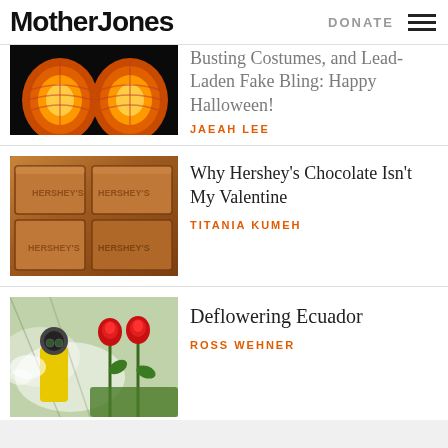Mother Jones | DONATE
Busting Costumes, and Lead-Laden Fake Bling: Happy Halloween!
JAEAH LEE
Why Hershey's Chocolate Isn't My Valentine
TITANIA KUMEH
Deflowering Ecuador
ROSS WEHNER